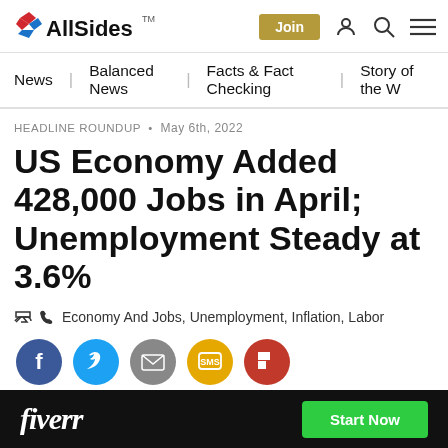AllSides — Join, user icon, search icon, menu icon
News | Balanced News | Facts & Fact Checking | Story of the W...
HEADLINE ROUNDUP • May 6th, 2022
US Economy Added 428,000 Jobs in April; Unemployment Steady at 3.6%
Economy And Jobs, Unemployment, Inflation, Labor
[Figure (infographic): Social sharing buttons: Facebook (blue circle), Twitter (light blue circle), Email (grey circle), SMS (yellow circle), Flipboard (red circle)]
AllSides Summary
The U.S. economy added 428,000 jobs last month, beating economists' expectations, according to the